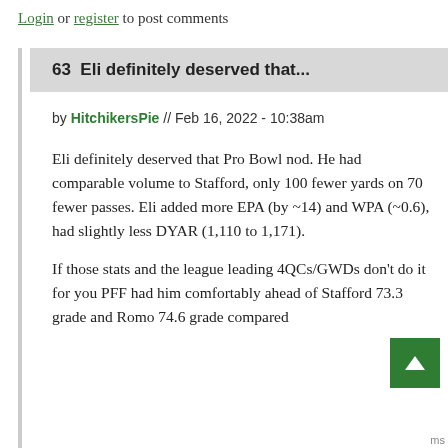Login or register to post comments
63  Eli definitely deserved that...
by HitchikersPie // Feb 16, 2022 - 10:38am
Eli definitely deserved that Pro Bowl nod. He had comparable volume to Stafford, only 100 fewer yards on 70 fewer passes. Eli added more EPA (by ~14) and WPA (~0.6), had slightly less DYAR (1,110 to 1,171).
If those stats and the league leading 4QCs/GWDs don't do it for you PFF had him comfortably ahead of Stafford 73.3 grade and Romo 74.6 grade compared